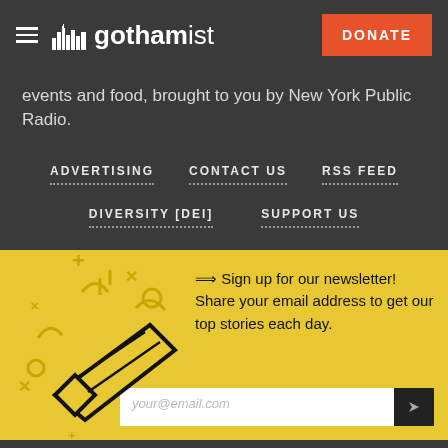gothamist — DONATE
events and food, brought to you by New York Public Radio.
ADVERTISING
CONTACT US
RSS FEED
DIVERSITY [DEI]
SUPPORT US
[Figure (illustration): Confetti popper / party popper illustration with decorative confetti shapes in yellow and black on a yellow background]
Sign up for our newsletter! Share your email address to get our top stories each day.